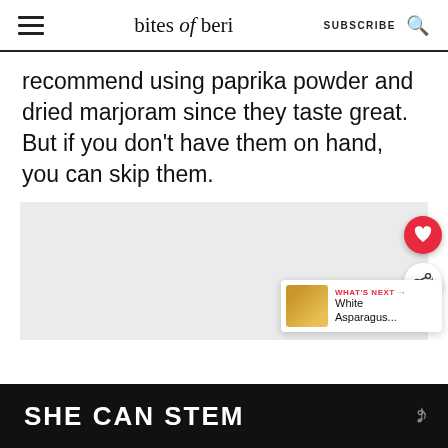bites of beri — SUBSCRIBE
recommend using paprika powder and dried marjoram since they taste great. But if you don't have them on hand, you can skip them.
[Figure (photo): Image placeholder area (gray background) with floating heart and share action buttons, and a 'What's Next → White Asparagus...' widget in the bottom right.]
SHE CAN STEM